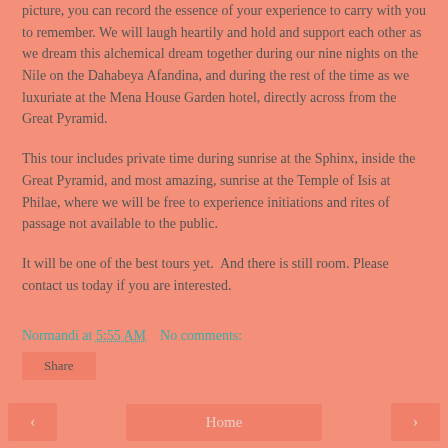picture, you can record the essence of your experience to carry with you to remember. We will laugh heartily and hold and support each other as we dream this alchemical dream together during our nine nights on the Nile on the Dahabeya Afandina, and during the rest of the time as we luxuriate at the Mena House Garden hotel, directly across from the Great Pyramid.
This tour includes private time during sunrise at the Sphinx, inside the Great Pyramid, and most amazing, sunrise at the Temple of Isis at Philae, where we will be free to experience initiations and rites of passage not available to the public.
It will be one of the best tours yet.  And there is still room. Please contact us today if you are interested.
Normandi at 5:55 AM    No comments:
Share
< Home >